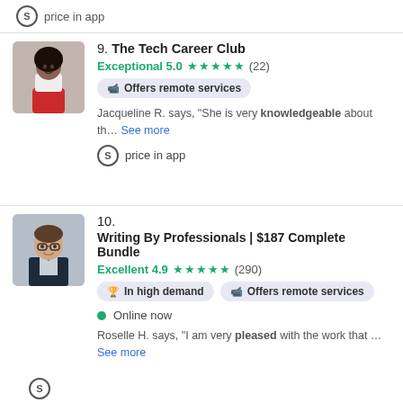price in app
9. The Tech Career Club — Exceptional 5.0 ★★★★★ (22) — Offers remote services — Jacqueline R. says, "She is very knowledgeable about th... See more" — price in app
10. Writing By Professionals | $187 Complete Bundle — Excellent 4.9 ★★★★★ (290) — In high demand — Offers remote services — Online now — Roselle H. says, "I am very pleased with the work that ... See more"